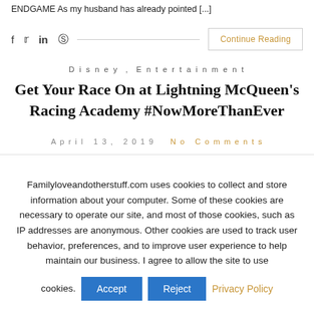ENDGAME As my husband has already pointed [...]
f  t  in   Pinterest  Continue Reading
Disney , Entertainment
Get Your Race On at Lightning McQueen's Racing Academy #NowMoreThanEver
April 13, 2019  No Comments
Familyloveandotherstuff.com uses cookies to collect and store information about your computer. Some of these cookies are necessary to operate our site, and most of those cookies, such as IP addresses are anonymous. Other cookies are used to track user behavior, preferences, and to improve user experience to help maintain our business. I agree to allow the site to use cookies. Accept  Reject  Privacy Policy